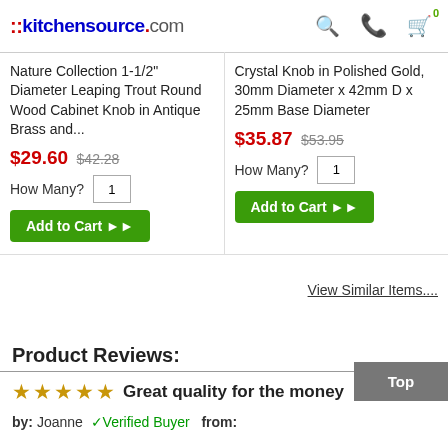::kitchensource.com
Nature Collection 1-1/2" Diameter Leaping Trout Round Wood Cabinet Knob in Antique Brass and...
$29.60 $42.28
How Many? 1
Add to Cart ▶▶
Crystal Knob in Polished Gold, 30mm Diameter x 42mm D x 25mm Base Diameter
$35.87 $53.95
How Many? 1
Add to Cart ▶▶
View Similar Items....
Product Reviews:
★★★★★ Great quality for the money
by: Joanne ✓Verified Buyer from: